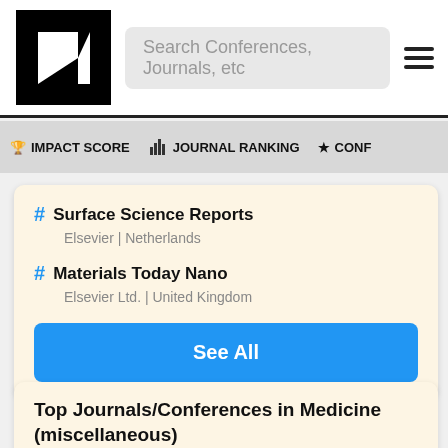Search Conferences, Journals, etc
🏆 IMPACT SCORE   📊 JOURNAL RANKING   ★ CONF
# Surface Science Reports
Elsevier | Netherlands
# Materials Today Nano
Elsevier Ltd. | United Kingdom
See All
Top Journals/Conferences in Medicine (miscellaneous)